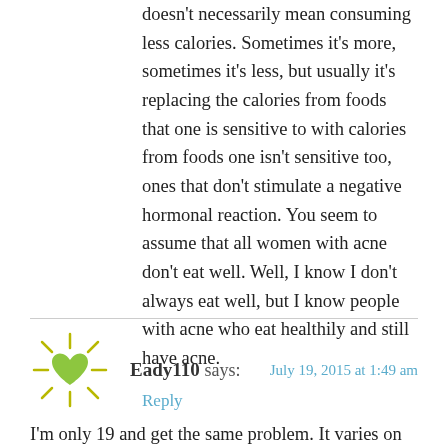doesn't necessarily mean consuming less calories. Sometimes it's more, sometimes it's less, but usually it's replacing the calories from foods that one is sensitive to with calories from foods one isn't sensitive too, ones that don't stimulate a negative hormonal reaction. You seem to assume that all women with acne don't eat well. Well, I know I don't always eat well, but I know people with acne who eat healthily and still have acne.
Reply
Eady110 says: July 19, 2015 at 1:49 am
I'm only 19 and get the same problem. It varies on my skin. My forehead is fine I rarely get pimples there, maybe the odd one every few months. But I get it badly